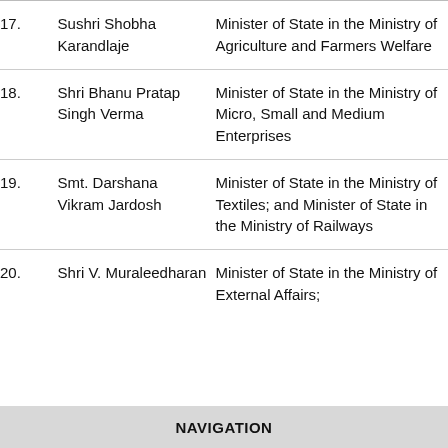| No. | Name | Role |
| --- | --- | --- |
| 17. | Sushri Shobha Karandlaje | Minister of State in the Ministry of Agriculture and Farmers Welfare |
| 18. | Shri Bhanu Pratap Singh Verma | Minister of State in the Ministry of Micro, Small and Medium Enterprises |
| 19. | Smt. Darshana Vikram Jardosh | Minister of State in the Ministry of Textiles; and Minister of State in the Ministry of Railways |
| 20. | Shri V. Muraleedharan | Minister of State in the Ministry of External Affairs; |
NAVIGATION